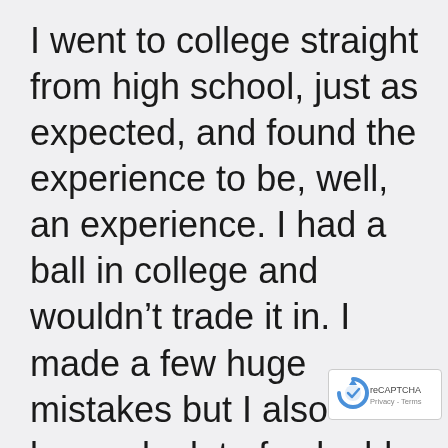I went to college straight from high school, just as expected, and found the experience to be, well, an experience. I had a ball in college and wouldn't trade it in. I made a few huge mistakes but I also learned a lot of valuable lessons. When you're in your late teens and early 20s, you can get away with quite a b...
[Figure (logo): reCAPTCHA logo with 'Privacy - Terms' text overlay in bottom-right corner]